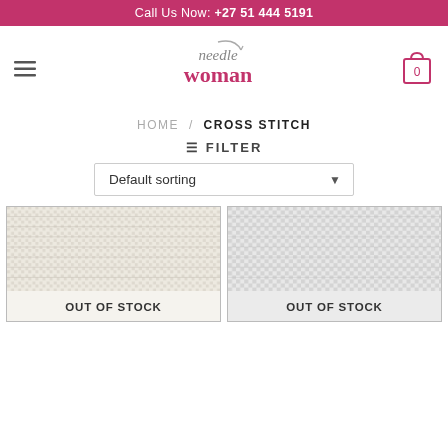Call Us Now: +27 51 444 5191
[Figure (logo): Needle Woman brand logo with needle graphic, pink and grey text]
HOME / CROSS STITCH
≡ FILTER
Default sorting
[Figure (photo): Product card 1: fabric texture (cream/beige Aida cloth), labeled OUT OF STOCK]
[Figure (photo): Product card 2: fabric texture (grey/white grid cloth), labeled OUT OF STOCK]